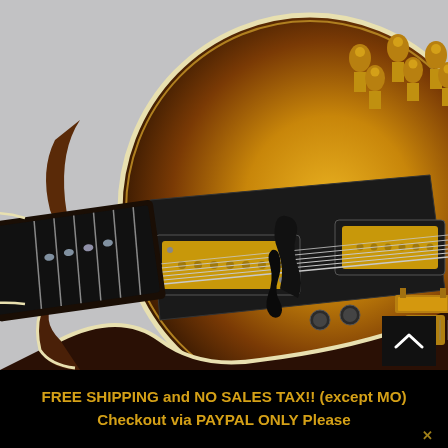[Figure (photo): Close-up photograph of a hollow-body or semi-hollow electric guitar with a sunburst flame maple top. The guitar has gold hardware including tuning pegs, bridge/tailpiece, and two humbucking pickups with gold covers. The body features cream/ivory binding around the edges and f-hole cutouts. The fretboard (partial view on left) shows pearl inlays. Background is grey/white.]
FREE SHIPPING and NO SALES TAX!! (except MO) Checkout via PAYPAL ONLY Please